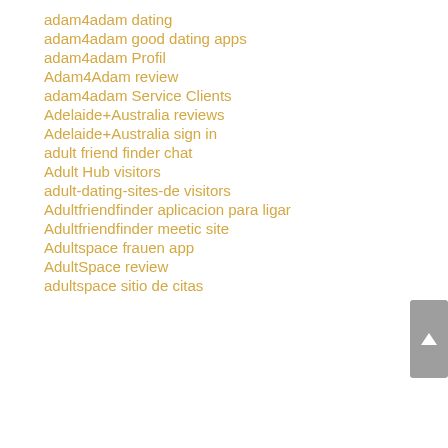adam4adam dating
adam4adam good dating apps
adam4adam Profil
Adam4Adam review
adam4adam Service Clients
Adelaide+Australia reviews
Adelaide+Australia sign in
adult friend finder chat
Adult Hub visitors
adult-dating-sites-de visitors
Adultfriendfinder aplicacion para ligar
Adultfriendfinder meetic site
Adultspace frauen app
AdultSpace review
adultspace sitio de citas